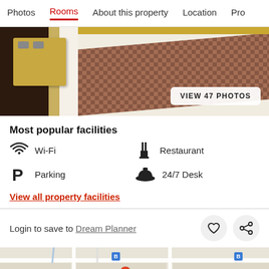Photos | Rooms | About this property | Location | Pro
[Figure (photo): Hotel bedroom photo showing a bed with dark brown runner/throw, wooden headboard and nightstand, with a 'VIEW 47 PHOTOS' button overlay]
Most popular facilities
Wi-Fi
Restaurant
Parking
24/7 Desk
View all property facilities
Login to save to Dream Planner
[Figure (map): Street map showing location near Gedung Dalail Khoirot]